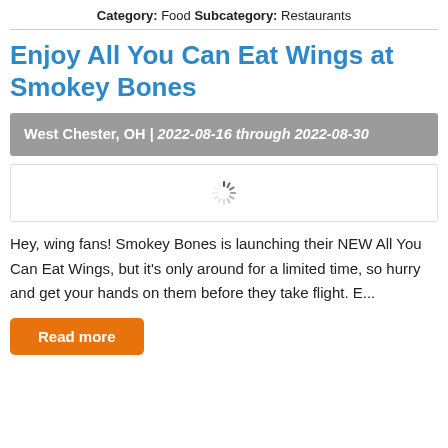Category: Food Subcategory: Restaurants
Enjoy All You Can Eat Wings at Smokey Bones
West Chester, OH | 2022-08-16 through 2022-08-30
[Figure (other): Loading spinner icon]
Hey, wing fans! Smokey Bones is launching their NEW All You Can Eat Wings, but it's only around for a limited time, so hurry and get your hands on them before they take flight. E...
Read more